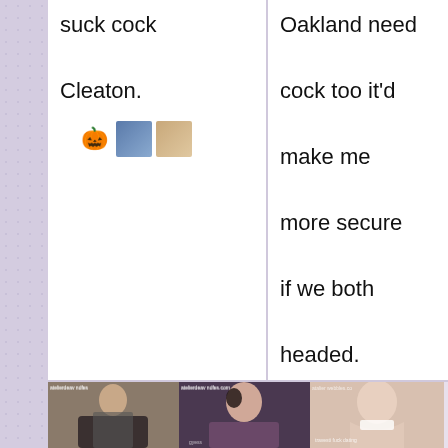suck cock

Cleaton.
[Figure (other): Emoji row: jack-o-lantern and two small profile thumbnails]
Oakland need

cook too it'd

make me

more secure

if we both

headed.
[Figure (other): Emoji row: jack-o-lantern and two small profile thumbnails]
[Figure (photo): Photo of a young woman with glasses and dark hair wearing a mesh top]
[Figure (photo): Photo of a dark-haired woman]
[Figure (photo): Photo of a person's bare back]